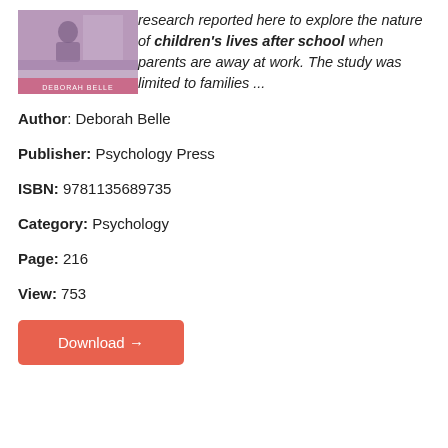[Figure (photo): Book cover photo showing a person at a desk, with author name 'DEBORAH BELLE' at the bottom, purple/pink toned image]
research reported here to explore the nature of children's lives after school when parents are away at work. The study was limited to families ...
Author: Deborah Belle
Publisher: Psychology Press
ISBN: 9781135689735
Category: Psychology
Page: 216
View: 753
Download →